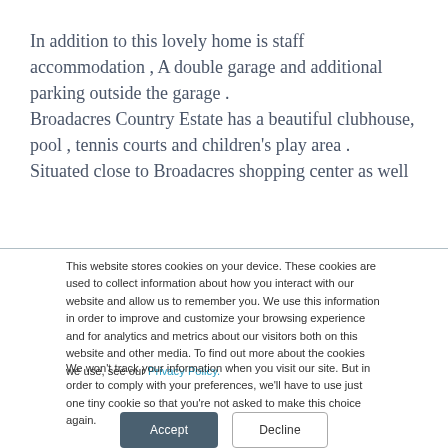In addition to this lovely home is staff accommodation , A double garage and additional parking outside the garage . Broadacres Country Estate has a beautiful clubhouse, pool , tennis courts and children's play area . Situated close to Broadacres shopping center as well
This website stores cookies on your device. These cookies are used to collect information about how you interact with our website and allow us to remember you. We use this information in order to improve and customize your browsing experience and for analytics and metrics about our visitors both on this website and other media. To find out more about the cookies we use, see our Privacy Policy.
We won't track your information when you visit our site. But in order to comply with your preferences, we'll have to use just one tiny cookie so that you're not asked to make this choice again.